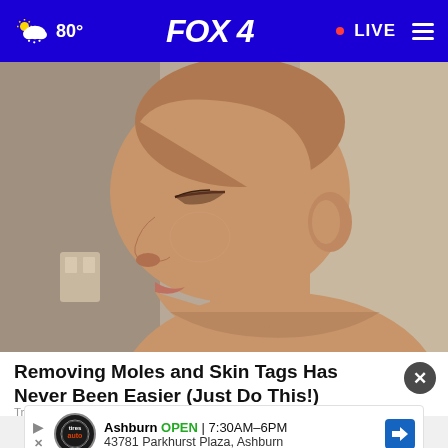80° FOX 4 • LIVE
[Figure (photo): Side profile of a bald man with eyes closed, showing his face, neck, and head against a light background.]
Removing Moles and Skin Tags Has Never Been Easier (Just Do This!)
Trending Stories
Ashburn OPEN 7:30AM–6PM 43781 Parkhurst Plaza, Ashburn